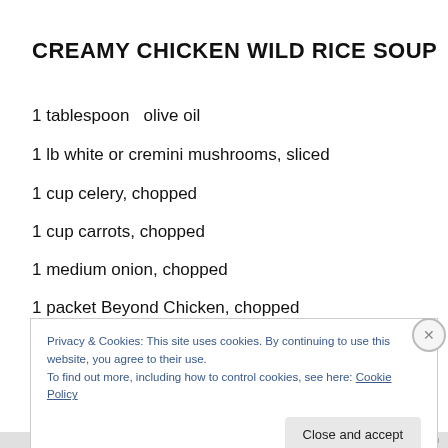CREAMY CHICKEN WILD RICE SOUP
1 tablespoon  olive oil
1 lb white or cremini mushrooms, sliced
1 cup celery, chopped
1 cup carrots, chopped
1 medium onion, chopped
1 packet Beyond Chicken, chopped
1/4 cup all-purpose flour
salt and pepper to taste
Privacy & Cookies: This site uses cookies. By continuing to use this website, you agree to their use.
To find out more, including how to control cookies, see here: Cookie Policy